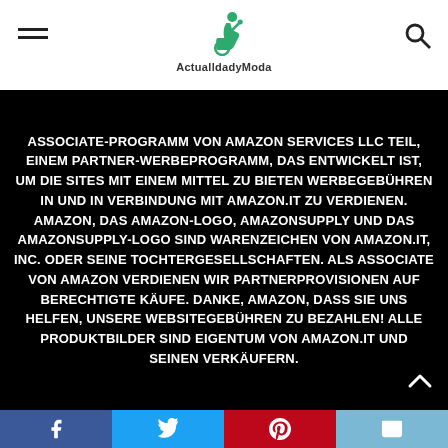ActualldadyModa
ASSOCIATE-PROGRAMM VON AMAZON SERVICES LLC TEIL, EINEM PARTNER-WERBEPROGRAMM, DAS ENTWICKELT IST, UM DIE SITES MIT EINEM MITTEL ZU BIETEN WERBEGEBÜHREN IN UND IN VERBINDUNG MIT AMAZON.IT ZU VERDIENEN. AMAZON, DAS AMAZON-LOGO, AMAZONSUPPLY UND DAS AMAZONSUPPLY-LOGO SIND WARENZEICHEN VON AMAZON.IT, INC. ODER SEINE TOCHTERGESELLSCHAFTEN. ALS ASSOCIATE VON AMAZON VERDIENEN WIR PARTNERPROVISIONEN AUF BERECHTIGTE KÄUFE. DANKE, AMAZON, DASS SIE UNS HELFEN, UNSERE WEBSITEGEBÜHREN ZU BEZAHLEN! ALLE PRODUKTBILDER SIND EIGENTUM VON AMAZON.IT UND SEINEN VERKÄUFERN.
Facebook Twitter Pinterest Email